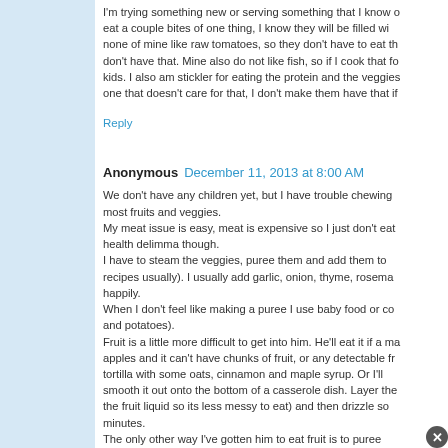I'm trying something new or serving something that I know of eat a couple bites of one thing, I know they will be filled wi none of mine like raw tomatoes, so they don't have to eat th don't have that. Mine also do not like fish, so if I cook that fo kids. I also am stickler for eating the protein and the veggies one that doesn't care for that, I don't make them have that if
Reply
Anonymous  December 11, 2013 at 8:00 AM
We don't have any children yet, but I have trouble chewing most fruits and veggies.
My meat issue is easy, meat is expensive so I just don't eat health delimma though.
I have to steam the veggies, puree them and add them to recipes usually). I usually add garlic, onion, thyme, rosema happily.
When I don't feel like making a puree I use baby food or co and potatoes).
Fruit is a little more difficult to get into him. He'll eat it if a ma apples and it can't have chunks of fruit, or any detectable fr tortilla with some oats, cinnamon and maple syrup. Or I'll smooth it out onto the bottom of a casserole dish. Layer the the fruit liquid so its less messy to eat) and then drizzle so minutes.
The only other way I've gotten him to eat fruit is to puree